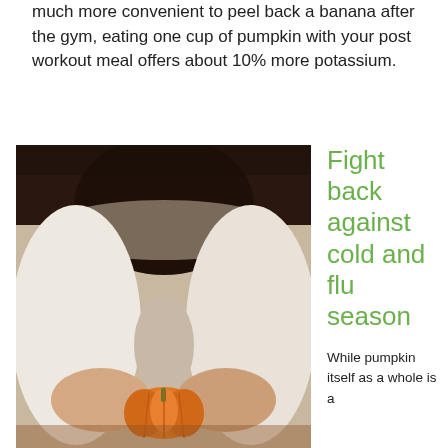much more convenient to peel back a banana after the gym, eating one cup of pumpkin with your post workout meal offers about 10% more potassium.
[Figure (photo): Person holding a small orange pumpkin in both hands, wearing a white sweater, with dark hair visible at the top]
Fight back against cold and flu season
While pumpkin itself as a whole is a